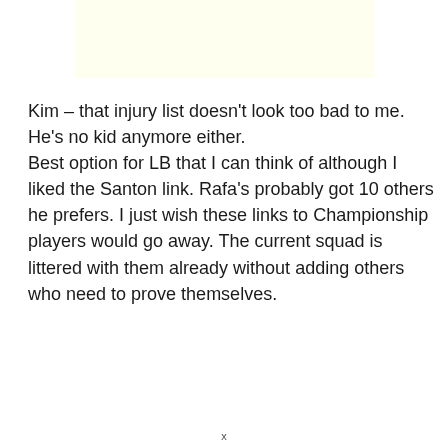[Figure (other): Light yellow advertisement or banner placeholder box]
Kim – that injury list doesn't look too bad to me. He's no kid anymore either. Best option for LB that I can think of although I liked the Santon link. Rafa's probably got 10 others he prefers. I just wish these links to Championship players would go away. The current squad is littered with them already without adding others who need to prove themselves.
x